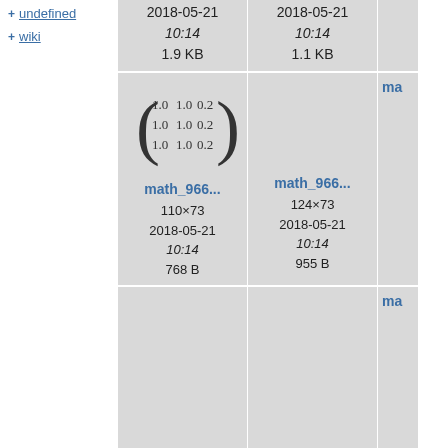+ undefined
+ wiki
[Figure (screenshot): Top row of file thumbnails showing date 2018-05-21 10:14 and sizes 1.9 KB and 1.1 KB (partially cut off at top)]
[Figure (math-figure): Matrix with values [[1.0, 1.0, 0.2],[1.0, 1.0, 0.2],[1.0, 1.0, 0.2]]]
math_966...
110×73
2018-05-21
10:14
768 B
[Figure (other): Empty gray thumbnail]
math_966...
124×73
2018-05-21
10:14
955 B
[Figure (other): Empty gray thumbnail (partial right)]
[Figure (other): Empty gray thumbnail large]
math_966...
247×73
2018-05-21
[Figure (other): Empty gray thumbnail large]
math_966...
295×73
2018-05-21
[Figure (other): Partial right thumbnail]